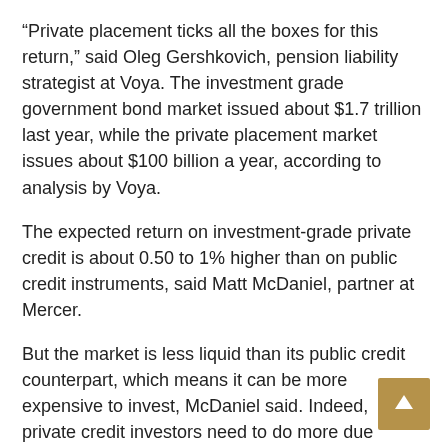“Private placement ticks all the boxes for this return,” said Oleg Gershkovich, pension liability strategist at Voya. The investment grade government bond market issued about $1.7 trillion last year, while the private placement market issues about $100 billion a year, according to analysis by Voya.
The expected return on investment-grade private credit is about 0.50 to 1% higher than on public credit instruments, said Matt McDaniel, partner at Mercer.
But the market is less liquid than its public credit counterpart, which means it can be more expensive to invest, McDaniel said. Indeed, private credit investors need to do more due diligence and negotiate transaction-specific credit protections.
“The two main benefits are slightly higher yield and increased portfolio diversity,” said Russ Ivinjack, chief investment officer at professional services firm Aon PLC, referring to private credit.